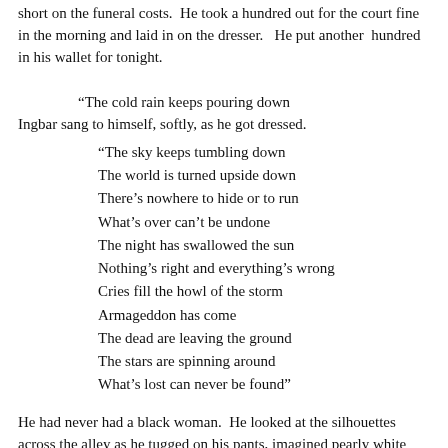short on the funeral costs.  He took a hundred out for the court fine in the morning and laid in on the dresser.   He put another  hundred in his wallet for tonight.
“The cold rain keeps pouring down
Ingbar sang to himself, softly, as he got dressed.
“The sky keeps tumbling down
The world is turned upside down
There’s nowhere to hide or to run
What’s over can’t be undone
The night has swallowed the sun
Nothing’s right and everything’s wrong
Cries fill the howl of the storm
Armageddon has come
The dead are leaving the ground
The stars are spinning around
What’s lost can never be found”
He had never had a black woman.  He looked at the silhouettes across the alley as he tugged on his pants, imagined pearly white smiles, smoky voices, caressing dark, silky skin in his hands.  Maybe he never would.  Maybe he’d go over there and the black guys would stomp him good.